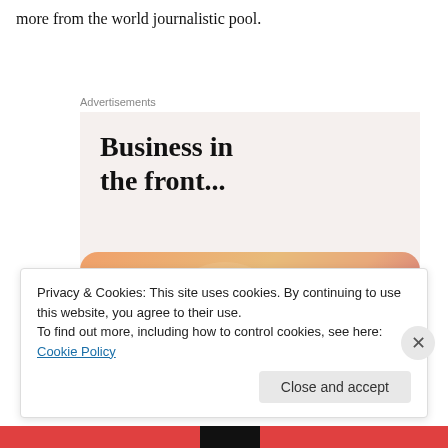more from the world journalistic pool.
Advertisements
[Figure (illustration): WordPress advertisement banner showing 'Business in the front...' text on light gray background, and 'WordPress in the back.' text on an orange/peach gradient band with decorative circles]
Privacy & Cookies: This site uses cookies. By continuing to use this website, you agree to their use.
To find out more, including how to control cookies, see here: Cookie Policy
Close and accept